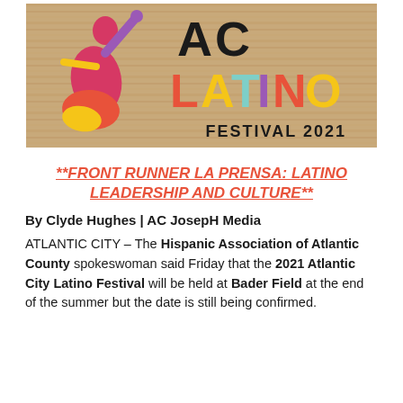[Figure (logo): AC Latino Festival 2021 logo on a wood-grain background. Features a magenta dancer silhouette on the left, large bold 'AC' text in dark, and 'LATINO' in multicolored letters (red L, yellow A, teal T, purple I, red N, yellow O), with 'FESTIVAL 2021' below in dark bold letters.]
**FRONT RUNNER LA PRENSA: LATINO LEADERSHIP AND CULTURE**
By Clyde Hughes | AC JosepH Media
ATLANTIC CITY – The Hispanic Association of Atlantic County spokeswoman said Friday that the 2021 Atlantic City Latino Festival will be held at Bader Field at the end of the summer but the date is still being confirmed.